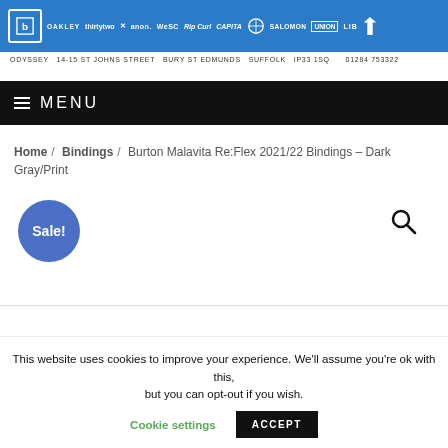[Figure (logo): Odyssey store header with blue background showing multiple brand logos including Oakley, thirtytwo, Anon, WeSC, Rip Curl, Capitol, and others]
ODYSSEY  14-15 ST JOHNS STREET  BURY ST EDMUNDS  SUFFOLK  IP33 1SQ  01284 753322
MENU
Home / Bindings / Burton Malavita Re:Flex 2021/22 Bindings – Dark Gray/Print
Sale!
This website uses cookies to improve your experience. We'll assume you're ok with this, but you can opt-out if you wish.
Cookie settings
ACCEPT